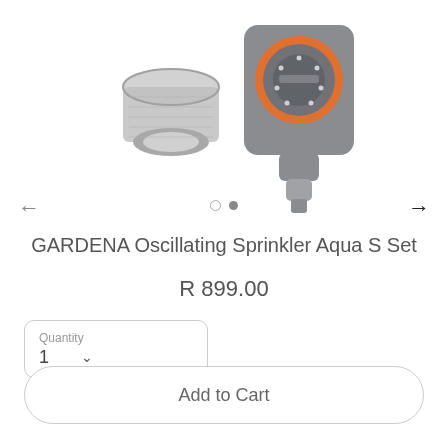[Figure (photo): Product photo of GARDENA Oscillating Sprinkler Aqua S Set components: a grey threaded coupling nut on the left and a grey/orange water timer device with GARDENA branding on the right, shown on white background]
GARDENA Oscillating Sprinkler Aqua S Set
R 899.00
Quantity
1
Add to Cart